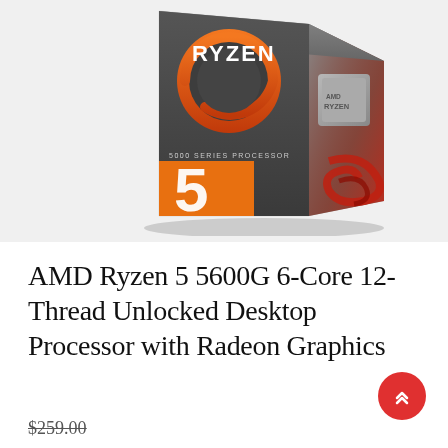[Figure (photo): AMD Ryzen 5 5000 Series processor retail box. Dark gray metallic box with 'RYZEN' text in white, orange circular AMD logo on top-left face, large orange '5' number on bottom-left corner, '5000 SERIES PROCESSOR' text. Right side shows the processor chip with 'AMD RYZEN' text in gray. Red abstract design visible on right side of box.]
AMD Ryzen 5 5600G 6-Core 12-Thread Unlocked Desktop Processor with Radeon Graphics
$259.00